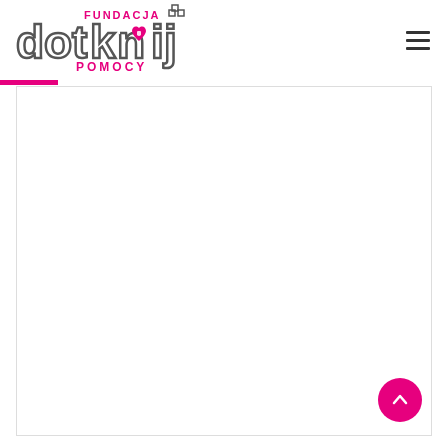Fundacja Dotknij Pomocy — navigation header with logo and hamburger menu
[Figure (logo): Fundacja Dotknij Pomocy logo — stylized 'dotknij' text with a heart/hand graphic and 'FUNDACJA' and 'POMOCY' text in pink and grey]
[Figure (other): Pink horizontal accent bar below the header navigation]
[Figure (other): Main white content area with border — appears mostly blank/loading]
[Figure (other): Pink circular scroll-to-top button with upward chevron arrow in the bottom right corner]